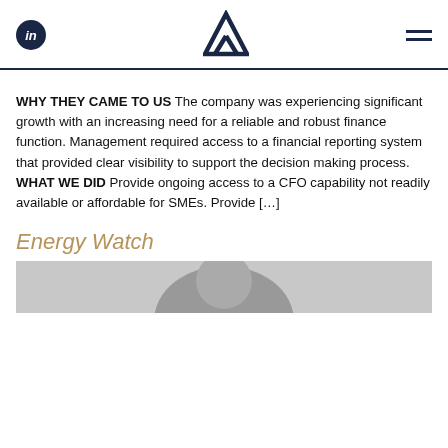in [logo] [menu]
WHY THEY CAME TO US The company was experiencing significant growth with an increasing need for a reliable and robust finance function. Management required access to a financial reporting system that provided clear visibility to support the decision making process. WHAT WE DID Provide ongoing access to a CFO capability not readily available or affordable for SMEs. Provide [...]
Energy Watch
[Figure (photo): Partial grayscale photo of a person, cropped at bottom of page]